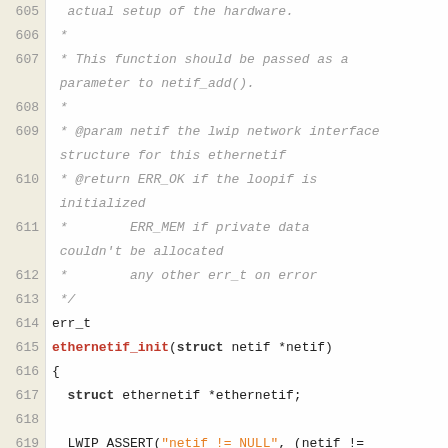Source code listing, lines 605-622, showing C function ethernetif_init with documentation comments and code body
605: actual setup of the hardware.
606:  *
607:  * This function should be passed as a parameter to netif_add().
608:  *
609:  * @param netif the lwip network interface structure for this ethernetif
610:  * @return ERR_OK if the loopif is initialized
611:  *         ERR_MEM if private data couldn't be allocated
612:  *         any other err_t on error
613:  */
614: err_t
615: ethernetif_init(struct netif *netif)
616: {
617:   struct ethernetif *ethernetif;
618:
619:   LWIP_ASSERT("netif != NULL", (netif != NULL));
620:
621:   if_rx62n = netif;
622:   ethernetif = (struct ethernetif *)((intptr_t)netif) + sizeof(struct netif));